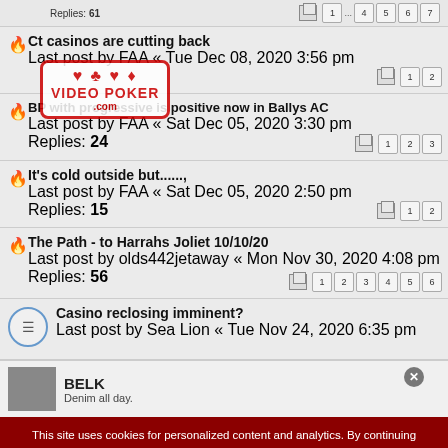Replies: 61 — pagination: 1 ... 4 5 6 7
Ct casinos are cutting back
Last post by FAA « Tue Dec 08, 2020 3:56 pm
Replies: — pagination: 1 2
[Figure (logo): Video Poker .com watermark logo with card suits]
BP with progressive is positive now in Ballys AC
Last post by FAA « Sat Dec 05, 2020 3:30 pm
Replies: 24 — pagination: 1 2 3
It's cold outside but......,
Last post by FAA « Sat Dec 05, 2020 2:50 pm
Replies: 15 — pagination: 1 2
The Path - to Harrahs Joliet 10/10/20
Last post by olds442jetaway « Mon Nov 30, 2020 4:08 pm
Replies: 56 — pagination: 1 2 3 4 5 6
Casino reclosing imminent?
Last post by Sea Lion « Tue Nov 24, 2020 6:35 pm
BELK
Denim all day.
This site uses cookies for personalized content and analytics. By continuing to use this site, you agree to this use. Close